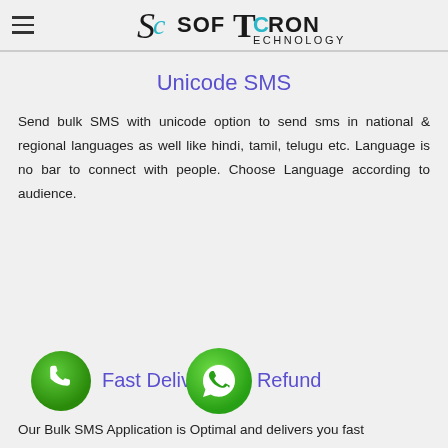SoftCron Technology
Unicode SMS
Send bulk SMS with unicode option to send sms in national & regional languages as well like hindi, tamil, telugu etc. Language is no bar to connect with people. Choose Language according to audience.
[Figure (logo): Phone call green circle icon and WhatsApp green circle icon side by side]
Fast Delivery   Refund
Our Bulk SMS Application is Optimal and delivers you fast